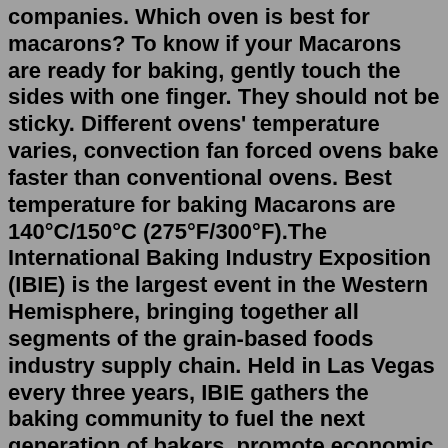companies. Which oven is best for macarons? To know if your Macarons are ready for baking, gently touch the sides with one finger. They should not be sticky. Different ovens' temperature varies, convection fan forced ovens bake faster than conventional ovens. Best temperature for baking Macarons are 140°C/150°C (275°F/300°F).The International Baking Industry Exposition (IBIE) is the largest event in the Western Hemisphere, bringing together all segments of the grain-based foods industry supply chain. Held in Las Vegas every three years, IBIE gathers the baking community to fuel the next generation of bakers, promote economic growth, educate and advance the future of baking together. Owned by the American Bakers ... Rules and/or conventions used. Status. Level of detail. Dates of creation, revision and deletion. Language(s) Script(s) Sources. Wirtz, R. L. (1994). Education and training for the baking industry of the world: A history of the american institute of baking from its origins to the